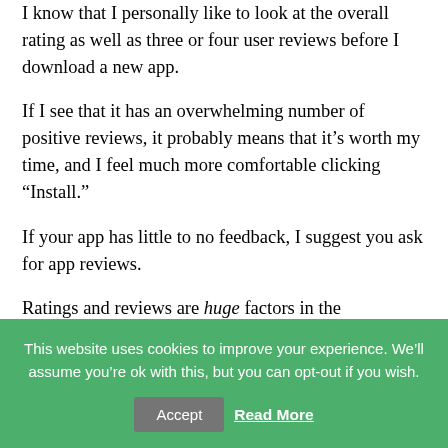I know that I personally like to look at the overall rating as well as three or four user reviews before I download a new app.
If I see that it has an overwhelming number of positive reviews, it probably means that it's worth my time, and I feel much more comfortable clicking “Install.”
If your app has little to no feedback, I suggest you ask for app reviews.
Ratings and reviews are huge factors in the
This website uses cookies to improve your experience. We’ll assume you’re ok with this, but you can opt-out if you wish.